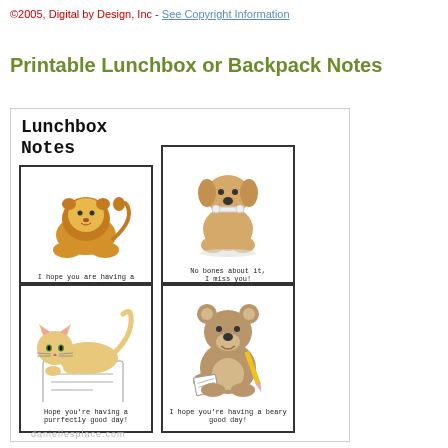©2005, Digital by Design, Inc - See Copyright Information
Printable Lunchbox or Backpack Notes
[Figure (illustration): Preview of printable lunchbox notes sheet showing four illustrated animal note cards: a lion ('I hope you are having a grrrreat day!'), a dog ('No bones about it, I miss you!'), a cat ('Hope you're having a purrfectly good day!'), and a bear ('I hope you're having a beary good day!') with 'Lunchbox Notes' title at top left.]